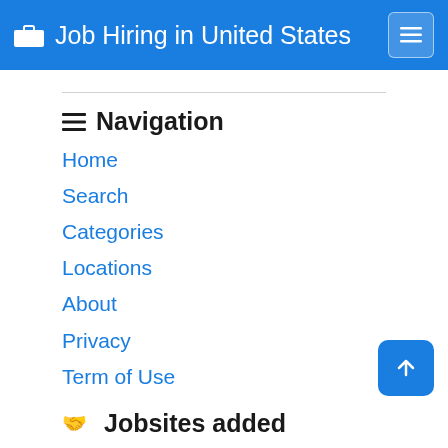Job Hiring in United States
Navigation
Home
Search
Categories
Locations
About
Privacy
Term of Use
Jobsites added
CareerJet
Indeed
Monster